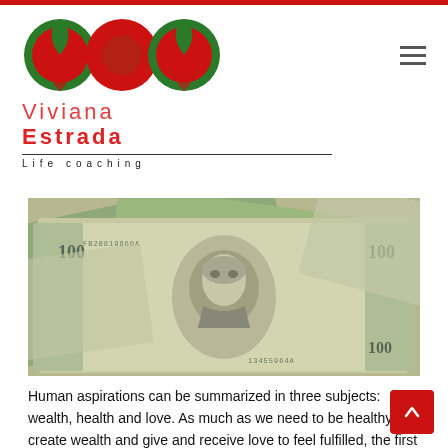[Figure (logo): Viviana Estrada Life Coaching logo with yin-yang style circular symbols in red and green, text reading Viviana Estrada Life coaching]
[Figure (photo): Close-up photograph of US $100 dollar bills fanned out, showing Benjamin Franklin's face on the bills]
Human aspirations can be summarized in three subjects: wealth, health and love. As much as we need to be healthy to create wealth and give and receive love to feel fulfilled, the first thing we usually look for is wealth.
Money can't buy everything but it certainly tends to make everything easier. That is why when it comes to Chinese metaphysics wealth is one of the top areas of focus.